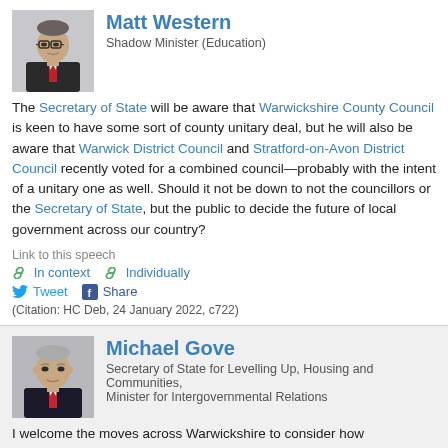[Figure (photo): Portrait photo of Matt Western, a man wearing glasses and a red tie]
Matt Western
Shadow Minister (Education)
The Secretary of State will be aware that Warwickshire County Council is keen to have some sort of county unitary deal, but he will also be aware that Warwick District Council and Stratford-on-Avon District Council recently voted for a combined council—probably with the intent of a unitary one as well. Should it not be down to not the councillors or the Secretary of State, but the public to decide the future of local government across our country?
Link to this speech
In context   Individually
Tweet   Share
(Citation: HC Deb, 24 January 2022, c722)
[Figure (photo): Portrait photo of Michael Gove, a man with grey hair wearing a dark suit]
Michael Gove
Secretary of State for Levelling Up, Housing and Communities, Minister for Intergovernmental Relations
I welcome the moves across Warwickshire to consider how